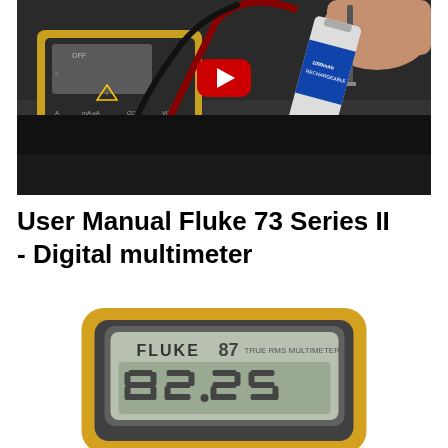[Figure (screenshot): YouTube video thumbnail showing a Fluke multimeter with red and black test leads connected to a battery, with a hand holding a screwdriver visible. A YouTube play button is overlaid in the center.]
User Manual Fluke 73 Series II - Digital multimeter
[Figure (photo): Close-up photo of a Fluke 87 True RMS Multimeter with yellow casing and a digital display showing numbers, viewed from the front.]